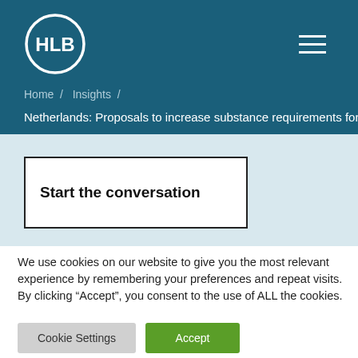[Figure (logo): HLB logo in white circle on teal background]
Home / Insights /
Netherlands: Proposals to increase substance requirements for lett
Start the conversation
We use cookies on our website to give you the most relevant experience by remembering your preferences and repeat visits. By clicking “Accept”, you consent to the use of ALL the cookies.
Cookie Settings
Accept